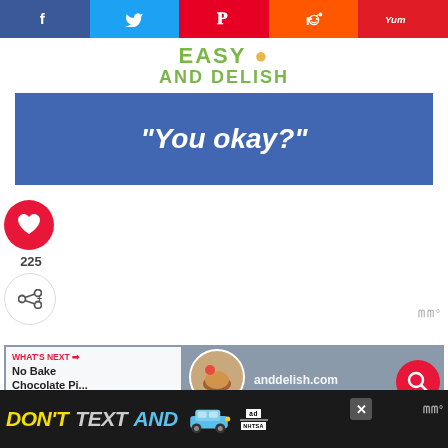[Figure (screenshot): Social sharing bar with Facebook, Twitter, Pinterest, Reddit, and Yummly buttons across the top]
[Figure (logo): Easy and Delish website logo with green text and orange accent]
[Figure (screenshot): Blue banner advertisement with white italic text reading "You okay?"]
[Figure (screenshot): Red heart/like button showing 225 likes and a share button on the left sidebar]
[Figure (screenshot): Video player thumbnail area showing What's Next: No Bake Chocolate Pi... with thumbnail image and easyanddelish.com watermark and red search button]
[Figure (screenshot): Bottom ad bar with dark background showing DON'T TEXT AND with car graphic and NHTSA logo]